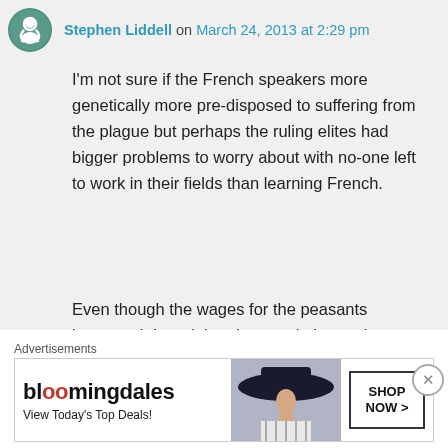Stephen Liddell on March 24, 2013 at 2:29 pm
I'm not sure if the French speakers more genetically more pre-disposed to suffering from the plague but perhaps the ruling elites had bigger problems to worry about with no-one left to work in their fields than learning French.
Even though the wages for the peasants increased, I read that the population and economy generally took over a century to return to anything like it was before. Perhaps also French speakers decided to
Advertisements
[Figure (other): Bloomingdale's advertisement banner with logo, woman in wide-brim hat, and 'SHOP NOW >' button. Tagline: View Today's Top Deals!]